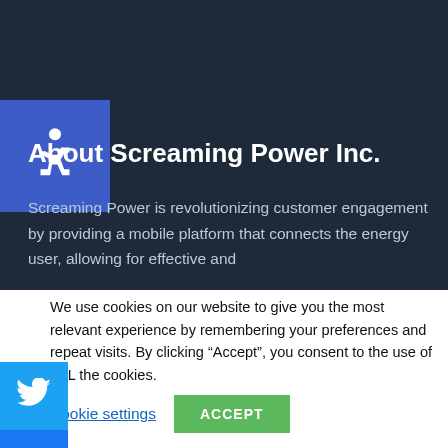[Figure (illustration): Accessibility wheelchair icon in a blue square on dark navy background]
About Screaming Power Inc.
Screaming Power is revolutionizing customer engagement by providing a mobile platform that connects the energy user, allowing for effective and
We use cookies on our website to give you the most relevant experience by remembering your preferences and repeat visits. By clicking “Accept”, you consent to the use of ALL the cookies.
Cookie settings   ACCEPT
[Figure (logo): Twitter (blue bird) social media icon button]
[Figure (logo): Facebook (f) social media icon button]
[Figure (logo): LinkedIn social media icon button (partial, cut off)]